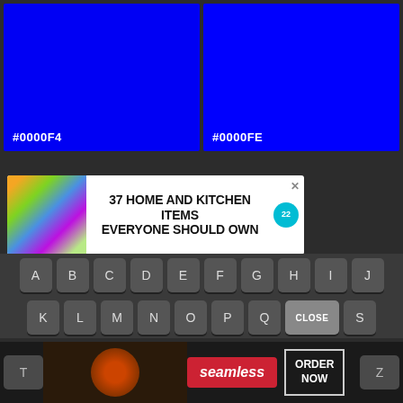[Figure (other): Two blue color swatches side by side. Left swatch is labeled #0000F4, right swatch is labeled #0000FE.]
[Figure (screenshot): Advertisement banner: '37 HOME AND KITCHEN ITEMS EVERYONE SHOULD OWN' with colorful bag images on left and a teal badge with '22' on right. Has an X close button.]
[Figure (screenshot): On-screen keyboard rows showing letters A through J on first row, K through S on second row. A CLOSE button overlays the R key area.]
[Figure (screenshot): Bottom ad banner for Seamless food delivery showing pizza image, Seamless logo, and ORDER NOW button. T and Z keys visible on sides.]